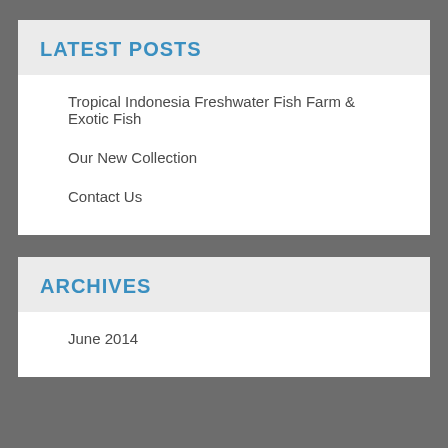LATEST POSTS
Tropical Indonesia Freshwater Fish Farm & Exotic Fish
Our New Collection
Contact Us
ARCHIVES
June 2014